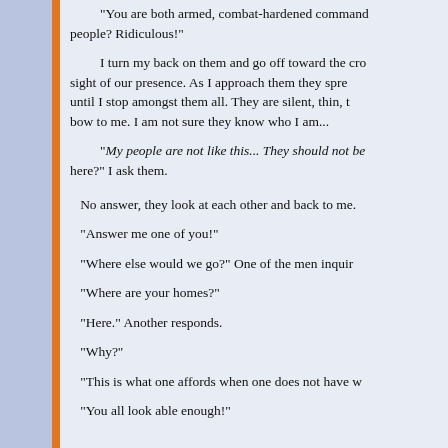"You are both armed, combat-hardened commands people? Ridiculous!"
I turn my back on them and go off toward the crowd, sight of our presence. As I approach them they spre until I stop amongst them all. They are silent, thin, t bow to me. I am not sure they know who I am...
"My people are not like this... They should not be here?" I ask them.
No answer, they look at each other and back to me.
"Answer me one of you!"
"Where else would we go?" One of the men inquir
"Where are your homes?"
"Here." Another responds.
"Why?"
"This is what one affords when one does not have w
"You all look able enough!"